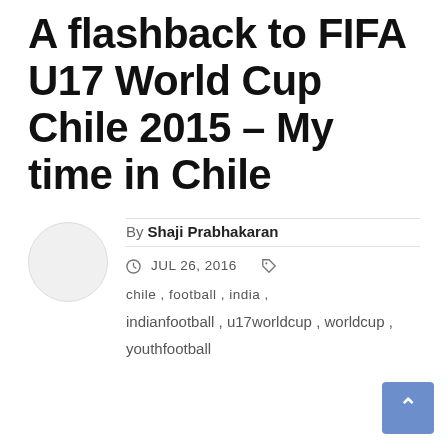A flashback to FIFA U17 World Cup Chile 2015 – My time in Chile
By Shaji Prabhakaran
JUL 26, 2016  chile, football, india, indianfootball, u17worldcup, worldcup, youthfootball